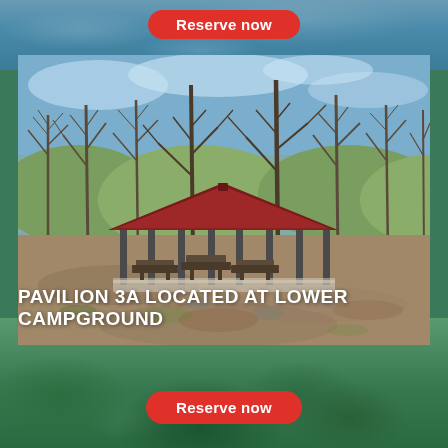[Figure (other): Button at top reading Reserve now on red rounded rectangle over river/nature background]
[Figure (photo): Photograph of Pavilion 3A at Lower Campground: open-sided pavilion with red metal roof, surrounded by bare deciduous trees, picnic tables underneath, dirt and sparse grass area in foreground, blue sky visible through branches]
PAVILION 3A LOCATED AT LOWER CAMPGROUND
[Figure (other): Button at bottom reading Reserve now on red rounded rectangle over green forested nature background]